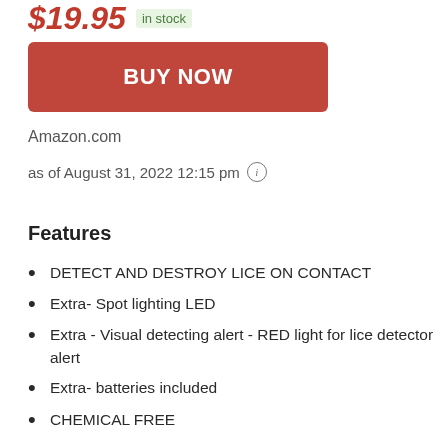$19.95 in stock
[Figure (other): Red BUY NOW button]
Amazon.com
as of August 31, 2022 12:15 pm (i)
Features
DETECT AND DESTROY LICE ON CONTACT
Extra- Spot lighting LED
Extra - Visual detecting alert - RED light for lice detector alert
Extra- batteries included
CHEMICAL FREE